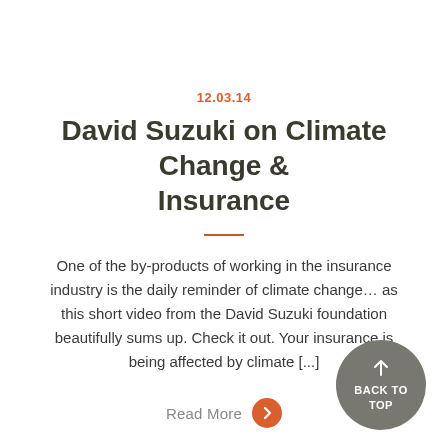12.03.14
David Suzuki on Climate Change & Insurance
One of the by-products of working in the insurance industry is the daily reminder of climate change… as this short video from the David Suzuki foundation beautifully sums up. Check it out. Your insurance is being affected by climate [...]
Read More →
↑ BACK TO TOP